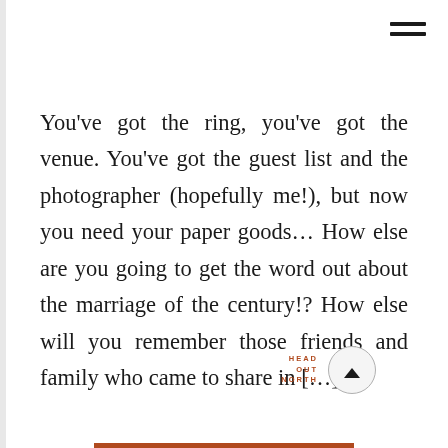[Figure (other): Hamburger menu icon (three horizontal lines) in top-right corner]
You've got the ring, you've got the venue. You've got the guest list and the photographer (hopefully me!), but now you need your paper goods… How else are you going to get the word out about the marriage of the century!? How else will you remember those friends and family who came to share in […]
[Figure (logo): HEAD OUT NORTH logo text in brown/rust color with a circular up-arrow button to the right]
[Figure (other): Rust/orange-brown horizontal bar at the bottom center of the page]